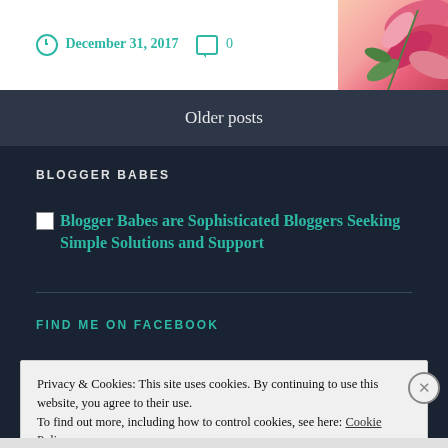December 31, 2017   0
[Figure (photo): Floral corner decoration with pink and red flowers]
Older posts
BLOGGER BABES
Blogger Babes are Sophisticated Bloggers Seeking Simple Solutions and Support
FIND ME ON FACEBOOK
Privacy & Cookies: This site uses cookies. By continuing to use this website, you agree to their use.
To find out more, including how to control cookies, see here: Cookie Policy
Close and accept